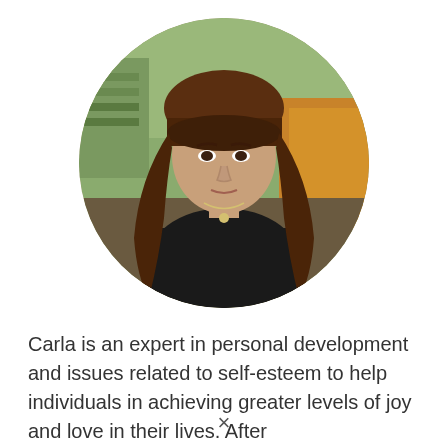[Figure (photo): Circular portrait photo of a woman with long brown hair wearing a black sleeveless top and a necklace, seated outdoors with a green and autumnal background.]
Carla is an expert in personal development and issues related to self-esteem to help individuals in achieving greater levels of joy and love in their lives. After [text truncated/cut off]